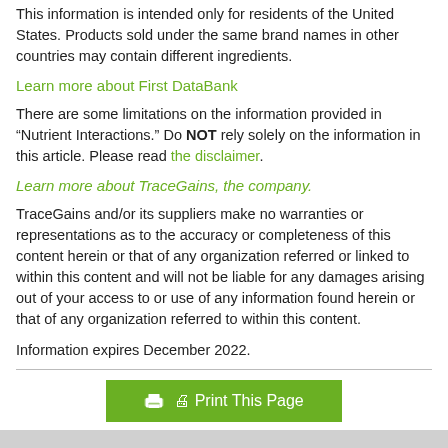This information is intended only for residents of the United States. Products sold under the same brand names in other countries may contain different ingredients.
Learn more about First DataBank
There are some limitations on the information provided in “Nutrient Interactions.” Do NOT rely solely on the information in this article. Please read the disclaimer.
Learn more about TraceGains, the company.
TraceGains and/or its suppliers make no warranties or representations as to the accuracy or completeness of this content herein or that of any organization referred or linked to within this content and will not be liable for any damages arising out of your access to or use of any information found herein or that of any organization referred to within this content.
Information expires December 2022.
[Figure (other): Print This Page button with printer icon]